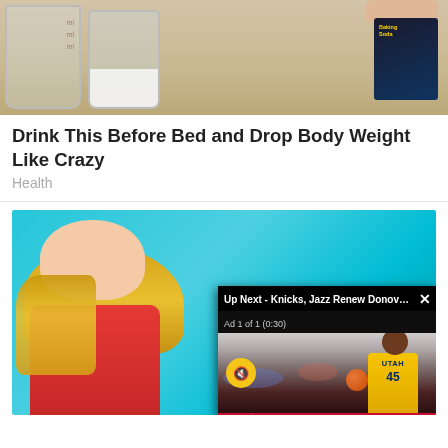[Figure (photo): Photo of glass jar with white powder (baking soda) and a measuring cup on a wooden surface, with a hand holding a baking soda box in the background]
Drink This Before Bed and Drop Body Weight Like Crazy
Health
[Figure (screenshot): Screenshot of a news/content page showing a blonde woman on a blue background with a video overlay showing a Utah Jazz basketball player (number 45) and a Sports Illustrated Breaking News ticker about Donovan Mitchell trade talks between the Knicks and the Jazz. Video header reads: Up Next - Knicks, Jazz Renew Donovan ... with an Ad 1 of 1 (0:30) label and mute button.]